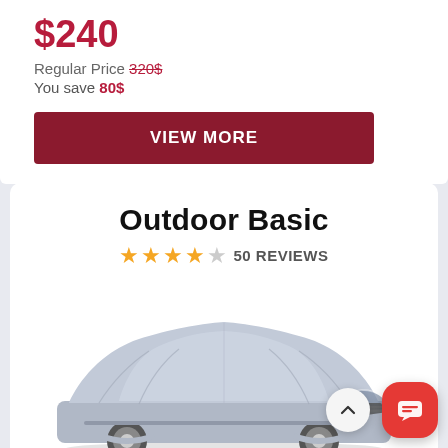$240
Regular Price 320$
You save 80$
VIEW MORE
Outdoor Basic
50 REVIEWS
[Figure (photo): A silver car covered with a gray protective car cover, front three-quarter view]